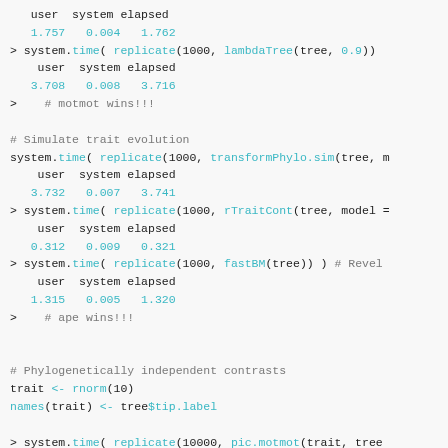user  system elapsed
   1.757   0.004   1.762
> system.time( replicate(1000, lambdaTree(tree, 0.9))
    user  system elapsed
   3.708   0.008   3.716
>    # motmot wins!!!

# Simulate trait evolution
system.time( replicate(1000, transformPhylo.sim(tree, m
    user  system elapsed
   3.732   0.007   3.741
> system.time( replicate(1000, rTraitCont(tree, model =
    user  system elapsed
   0.312   0.009   0.321
> system.time( replicate(1000, fastBM(tree)) ) # Revel
    user  system elapsed
   1.315   0.005   1.320
>    # ape wins!!!


# Phylogenetically independent contrasts
trait <- rnorm(10)
names(trait) <- tree$tip.label

> system.time( replicate(10000, pic.motmot(trait, tree
    user  system elapsed
   3.062   0.007   3.070
> system.time( replicate(10000, pic(trait, tree)) ) #